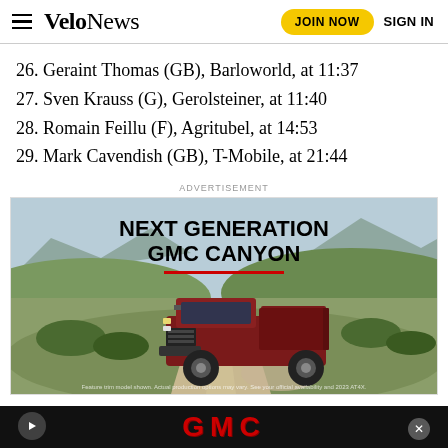VeloNews — JOIN NOW  SIGN IN
26. Geraint Thomas (GB), Barloworld, at 11:37
27. Sven Krauss (G), Gerolsteiner, at 11:40
28. Romain Feillu (F), Agritubel, at 14:53
29. Mark Cavendish (GB), T-Mobile, at 21:44
ADVERTISEMENT
[Figure (photo): Advertisement for Next Generation GMC Canyon pickup truck driving on a dirt road in a mountainous landscape with the GMC logo at the bottom.]